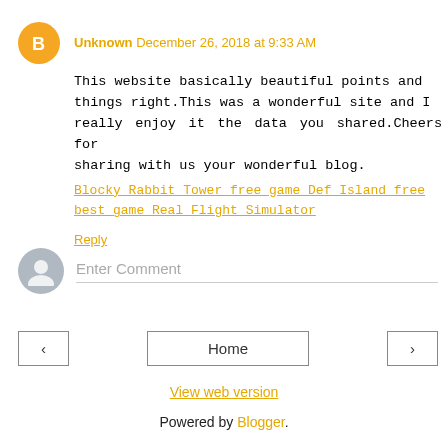Unknown December 26, 2018 at 9:33 AM
This website basically beautiful points and things right.This was a wonderful site and I really enjoy it the data you shared.Cheers for sharing with us your wonderful blog.
Blocky Rabbit Tower free game Def Island free best game Real Flight Simulator
Reply
Enter Comment
Home
View web version
Powered by Blogger.